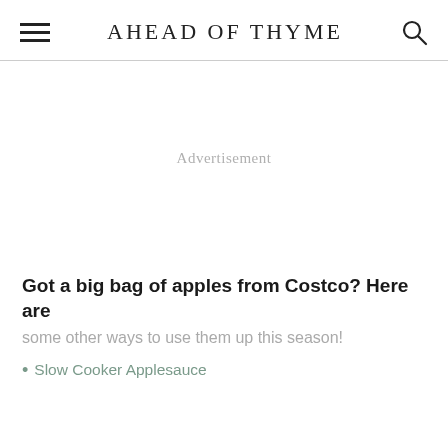AHEAD OF THYME
[Figure (other): Advertisement placeholder area]
Got a big bag of apples from Costco? Here are some other ways to use them up this season!
Slow Cooker Applesauce